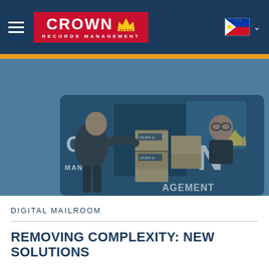[Figure (logo): Crown Records Management logo — white text on red background with gold crown icon]
[Figure (photo): Two Crown Records Management employees beside a branded van loading archive boxes; the van displays the Crown Records Management logo and name; image rendered in blue-tinted greyscale]
DIGITAL MAILROOM
REMOVING COMPLEXITY: NEW SOLUTIONS